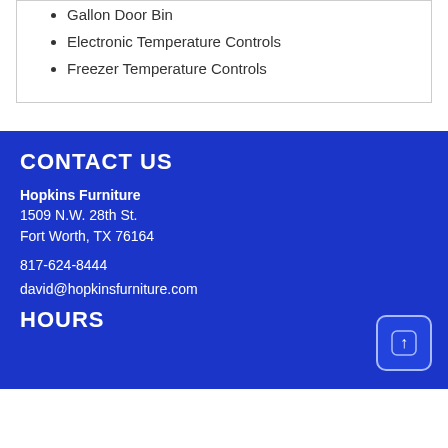Gallon Door Bin
Electronic Temperature Controls
Freezer Temperature Controls
CONTACT US
Hopkins Furniture
1509 N.W. 28th St.
Fort Worth, TX 76164
817-624-8444
david@hopkinsfurniture.com
HOURS